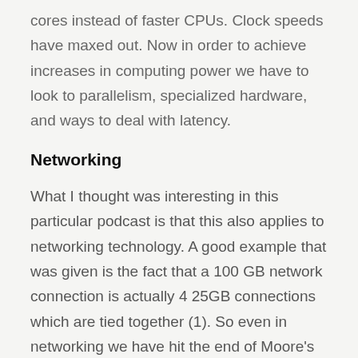cores instead of faster CPUs. Clock speeds have maxed out. Now in order to achieve increases in computing power we have to look to parallelism, specialized hardware, and ways to deal with latency.
Networking
What I thought was interesting in this particular podcast is that this also applies to networking technology. A good example that was given is the fact that a 100 GB network connection is actually 4 25GB connections which are tied together (1). So even in networking we have hit the end of Moore's Law and have to deal with parallelism, which is more complex. As Pradeep mentions in the podcast, most, if not all,